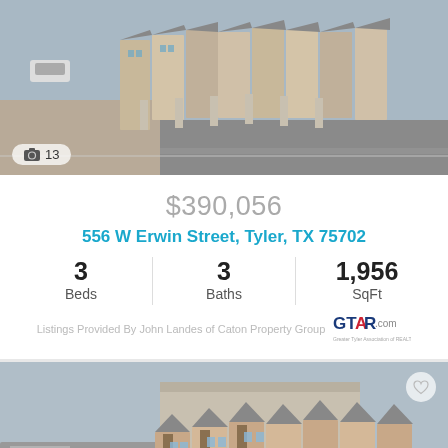[Figure (photo): Aerial view of brick townhomes/row houses with parking, top photo, showing rooftops and street]
$390,056
556 W Erwin Street, Tyler, TX 75702
3 Beds  3 Baths  1,956 SqFt
Listings Provided By John Landes of Caton Property Group
[Figure (photo): Aerial drone view of brick townhomes complex from above, showing row of multi-story units, parking lot and surrounding area]